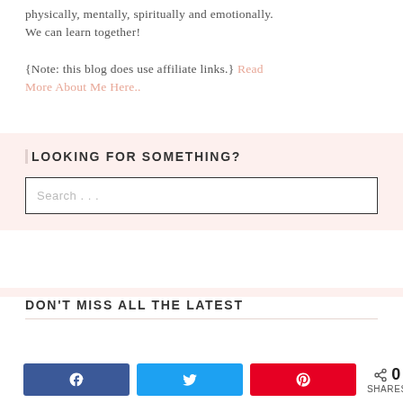physically, mentally, spiritually and emotionally. We can learn together!
{Note: this blog does use affiliate links.} Read More About Me Here..
LOOKING FOR SOMETHING?
Search . . .
DON'T MISS ALL THE LATEST
0 SHARES